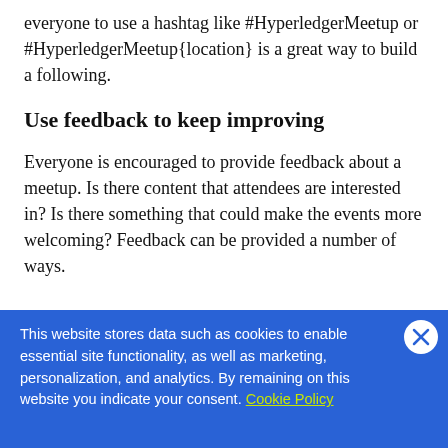everyone to use a hashtag like #HyperledgerMeetup or #HyperledgerMeetup{location} is a great way to build a following.
Use feedback to keep improving
Everyone is encouraged to provide feedback about a meetup. Is there content that attendees are interested in? Is there something that could make the events more welcoming? Feedback can be provided a number of ways.
This website stores data such as cookies to enable essential site functionality, as well as marketing, personalization, and analytics. By remaining on this website you indicate your consent. Cookie Policy